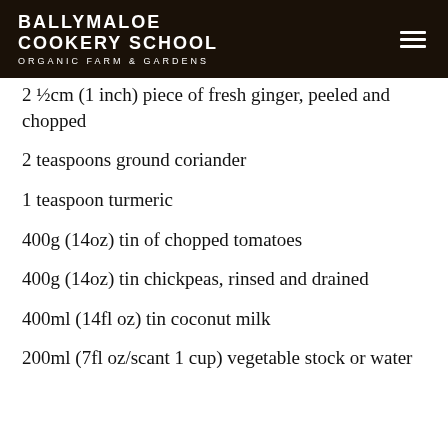BALLYMALOE COOKERY SCHOOL ORGANIC FARM & GARDENS
2 1/2cm (1 inch) piece of fresh ginger, peeled and chopped
2 teaspoons ground coriander
1 teaspoon turmeric
400g (14oz) tin of chopped tomatoes
400g (14oz) tin chickpeas, rinsed and drained
400ml (14fl oz) tin coconut milk
200ml (7fl oz/scant 1 cup) vegetable stock or water